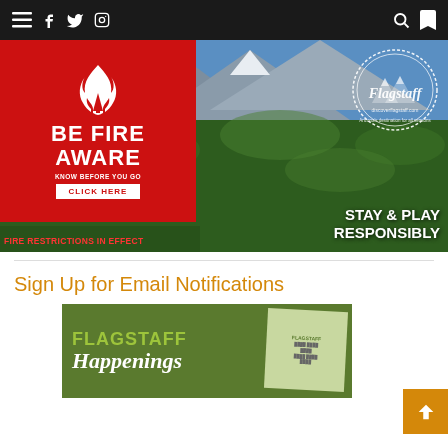Navigation bar with menu, social icons (Facebook, Twitter, Instagram), search, and bookmark
[Figure (infographic): Fire awareness banner with red panel showing 'BE FIRE AWARE - KNOW BEFORE YOU GO - CLICK HERE - FIRE RESTRICTIONS IN EFFECT' and right side showing mountain aerial view with Flagstaff discoverflagstaff.com badge and 'STAY & PLAY RESPONSIBLY' text]
Sign Up for Email Notifications
[Figure (infographic): Flagstaff Happenings newsletter signup banner on dark green background]